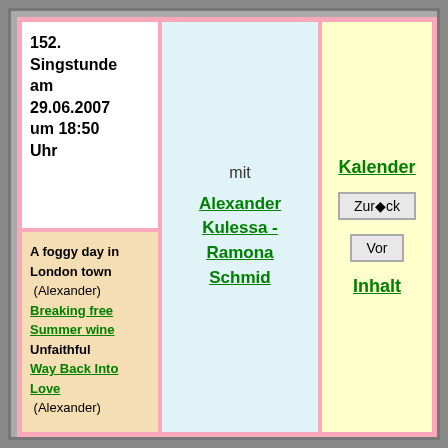152. Singstunde am 29.06.2007 um 18:50 Uhr
A foggy day in London town (Alexander)
Breaking free
Summer wine
Unfaithful
Way Back Into Love (Alexander)
mit Alexander Kulessa - Ramona Schmid
Kalender
Zurück
Vor
Inhalt